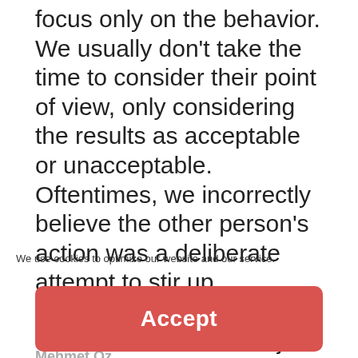focus only on the behavior. We usually don't take the time to consider their point of view, only considering the results as acceptable or unacceptable. Oftentimes, we incorrectly believe the other person's action was a deliberate attempt to stir up problems, create conflict, or foster ill will. That is just not true. Instead, we need to take the time to focus on the ideal that they had good intentions when deciding on and taking their course of action. After such consideration, we can work together to discover future steps that lead to mutually beneficial results.
We use cookies to optimize our website and our service.
The opposite of anger is not calmness, its empathy.
Accept
Mehmet Oz